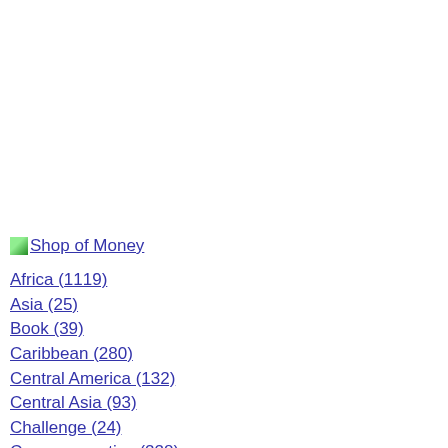[Figure (logo): Small green leaf/image icon for Shop of Money logo]
Shop of Money
Africa (1119)
Asia (25)
Book (39)
Caribbean (280)
Central America (132)
Central Asia (93)
Challenge (24)
Commemorative (228)
East and Southeast Asia (694)
Europe (808)
Middle East (261)